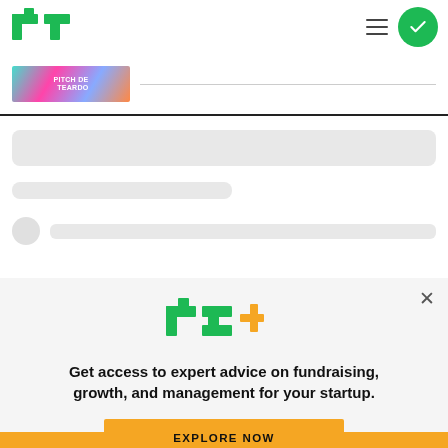[Figure (logo): TechCrunch TC logo in green]
[Figure (screenshot): Hamburger menu icon and green checkmark circle button in header]
[Figure (photo): Colorful ad banner with text PITCH DE TEARDO]
[Figure (screenshot): Loading skeleton UI placeholders - wide bar, medium bar, avatar with line]
[Figure (logo): TechCrunch TC+ logo in green and gold]
Get access to expert advice on fundraising, growth, and management for your startup.
[Figure (screenshot): EXPLORE NOW yellow button]